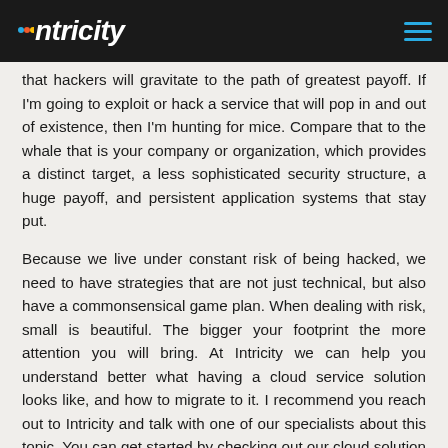intricity
that hackers will gravitate to the path of greatest payoff. If I'm going to exploit or hack a service that will pop in and out of existence, then I'm hunting for mice. Compare that to the whale that is your company or organization, which provides a distinct target, a less sophisticated security structure, a huge payoff, and persistent application systems that stay put.
Because we live under constant risk of being hacked, we need to have strategies that are not just technical, but also have a commonsensical game plan. When dealing with risk, small is beautiful. The bigger your footprint the more attention you will bring. At Intricity we can help you understand better what having a cloud service solution looks like, and how to migrate to it. I recommend you reach out to Intricity and talk with one of our specialists about this topic. You can get started by checking out our cloud solution assessment offering, which I've linked to in this video.